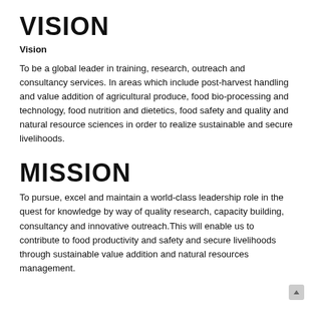VISION
Vision
To be a global leader in training, research, outreach and consultancy services. In areas which include post-harvest handling and value addition of agricultural produce, food bio-processing and technology, food nutrition and dietetics, food safety and quality and natural resource sciences in order to realize sustainable and secure livelihoods.
MISSION
To pursue, excel and maintain a world-class leadership role in the quest for knowledge by way of quality research, capacity building, consultancy and innovative outreach.This will enable us to contribute to food productivity and safety and secure livelihoods through sustainable value addition and natural resources management.